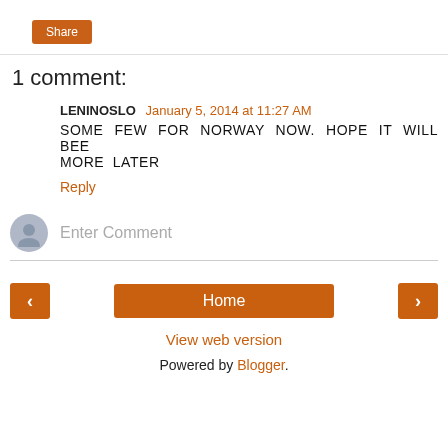[Figure (other): Orange Share button]
1 comment:
LENINOSLO January 5, 2014 at 11:27 AM
SOME FEW FOR NORWAY NOW. HOPE IT WILL BEE MORE LATER
Reply
[Figure (other): Enter Comment input field with avatar icon]
[Figure (other): Navigation row with left arrow, Home button, right arrow]
View web version
Powered by Blogger.